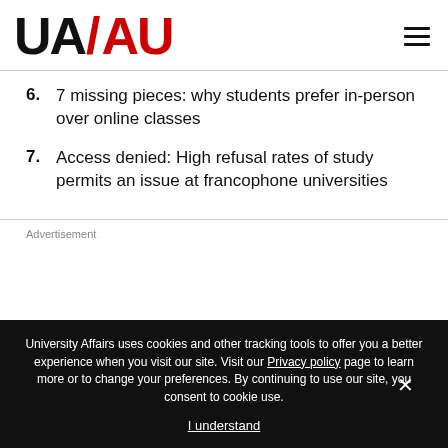UA/AU logo and navigation
6. 7 missing pieces: why students prefer in-person over online classes
7. Access denied: High refusal rates of study permits an issue at francophone universities
Advertisement
University Affairs uses cookies and other tracking tools to offer you a better experience when you visit our site. Visit our Privacy policy page to learn more or to change your preferences. By continuing to use our site, you consent to cookie use. I understand